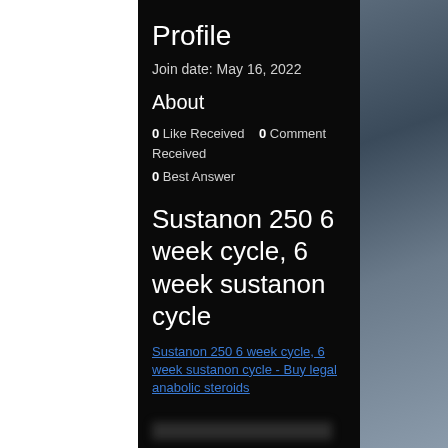Profile
Join date: May 16, 2022
About
0 Like Received    0 Comment Received
0 Best Answer
Sustanon 250 6 week cycle, 6 week sustanon cycle
Sustanon 250 6 week cycle, 6 week sustanon cycle - Buy legal anabolic steroids